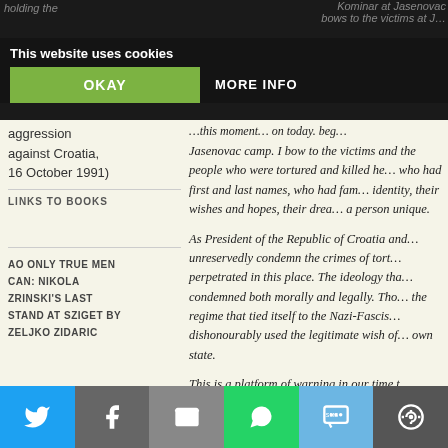holding the aggression against Croatia, 16 October 1991)
Kominar at Jasenovac camp… bows to the victims at J…
This website uses cookies
OKAY
MORE INFO
…this moment… on today. beg…
Jasenovac camp. I bow to the victims and the people who were tortured and killed here, who had first and last names, who had families, identity, their wishes and hopes, their dreams, a person unique.
As President of the Republic of Croatia and… unreservedly condemn the crimes of torture… perpetrated in this place. The ideology that… condemned both morally and legally. Those… the regime that tied itself to the Nazi-Fascist… dishonourably used the legitimate wish of… own state.
This is a platform of warning in our time t…
LINKS TO BOOKS
AO ONLY TRUE MEN CAN: NIKOLA ZRINSKI'S LAST STAND AT SZIGET BY ZELJKO ZIDARIC
aggression against Croatia, 16 October 1991)